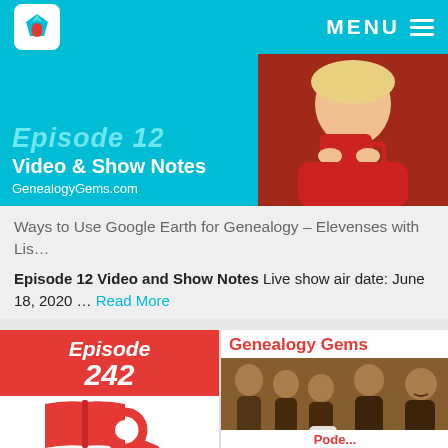MENU
[Figure (screenshot): Hero banner showing Episode 12 Video & Show Notes with GenealogyGems.com URL and a photo of a woman holding a red mug]
Ways to Use Google Earth for Genealogy – Elevenses with Lis…
Episode 12 Video and Show Notes Live show air date: June 18, 2020 … Read More
[Figure (illustration): Episode 242 card with red background and white bold italic text showing Episode 242, with a red book and magnifying glass icon below on white background]
[Figure (photo): Genealogy Gems card showing a vintage sepia family portrait of five people with the Genealogy Gems logo overlay]